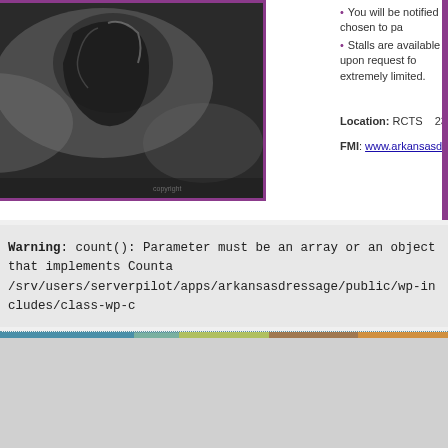[Figure (photo): Black and white photo of a horse with rider, shown from a low angle. The horse appears to be in a dressage or equestrian competition setting. The photo has a purple/magenta border.]
You will be notified if chosen to pa...
Stalls are available upon request for... extremely limited.
Location: RCTS   23424 Lawson...
FMI: www.arkansasdressage.org
Warning: count(): Parameter must be an array or an object that implements Counta... /srv/users/serverpilot/apps/arkansasdressage/public/wp-includes/class-wp-c...